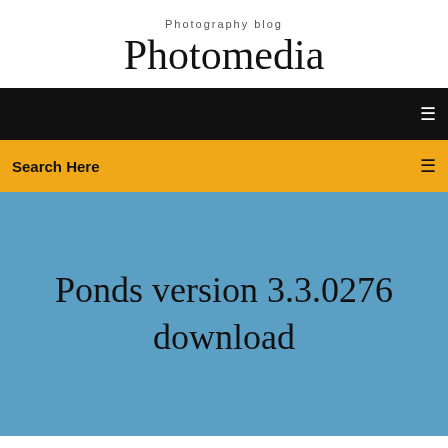Photography blog
Photomedia
[Figure (screenshot): Black navigation bar with a small white menu icon on the right]
Search Here
Ponds version 3.3.0276 download